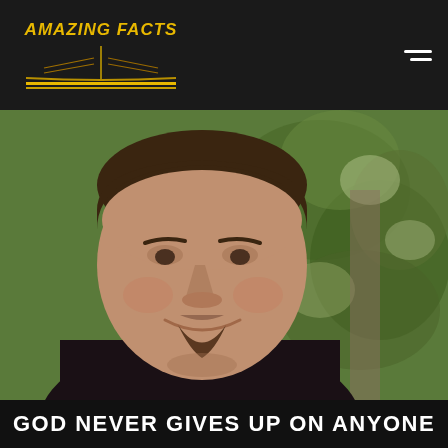[Figure (logo): Amazing Facts logo with open book graphic and gold text]
[Figure (photo): Portrait photo of a smiling middle-aged man with a goatee, wearing a dark jacket, with a blurred green outdoor background]
GOD NEVER GIVES UP ON ANYONE